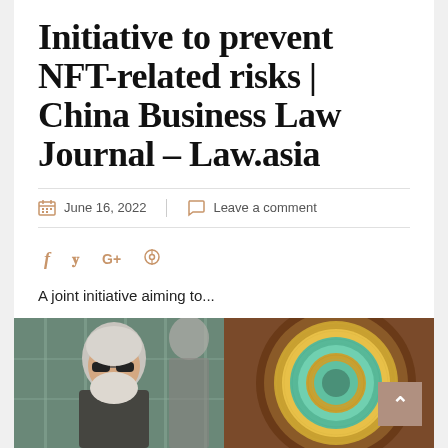Initiative to prevent NFT-related risks | China Business Law Journal – Law.asia
June 16, 2022   Leave a comment
A joint initiative aiming to...
[Figure (photo): Two photos side by side: left shows an elderly man with white hair and beard wearing sunglasses, outdoors; right shows an abstract circular artwork with concentric rings in teal, gold, and brown tones.]